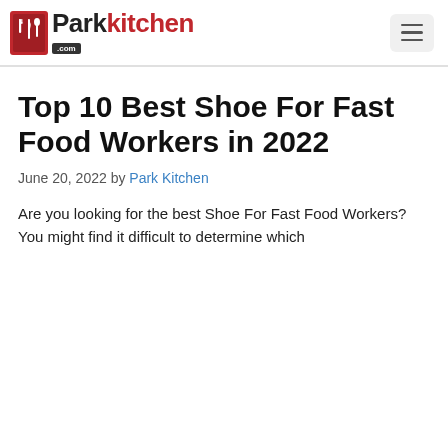Parkkitchen.com
Top 10 Best Shoe For Fast Food Workers in 2022
June 20, 2022 by Park Kitchen
Are you looking for the best Shoe For Fast Food Workers? You might find it difficult to determine which